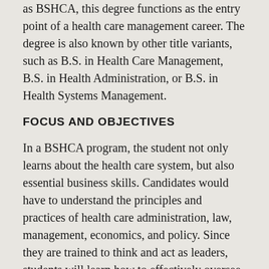as BSHCA, this degree functions as the entry point of a health care management career. The degree is also known by other title variants, such as B.S. in Health Care Management, B.S. in Health Administration, or B.S. in Health Systems Management.
FOCUS AND OBJECTIVES
In a BSHCA program, the student not only learns about the health care system, but also essential business skills. Candidates would have to understand the principles and practices of health care administration, law, management, economics, and policy. Since they are trained to think and act as leaders, students will learn how to effectively oversee teams or groups, in addition to solving problems through critical thinking, making decisions via understanding of health delivery systems, and handling and applying health care-related research